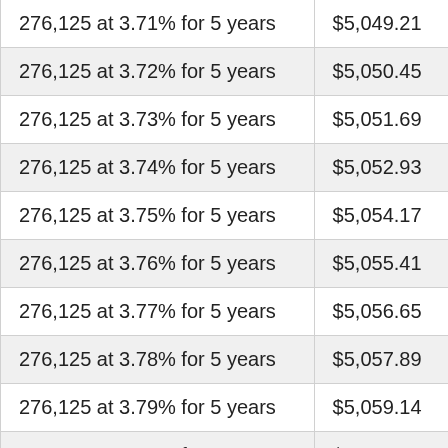| 276,125 at 3.71% for 5 years | $5,049.21 |
| 276,125 at 3.72% for 5 years | $5,050.45 |
| 276,125 at 3.73% for 5 years | $5,051.69 |
| 276,125 at 3.74% for 5 years | $5,052.93 |
| 276,125 at 3.75% for 5 years | $5,054.17 |
| 276,125 at 3.76% for 5 years | $5,055.41 |
| 276,125 at 3.77% for 5 years | $5,056.65 |
| 276,125 at 3.78% for 5 years | $5,057.89 |
| 276,125 at 3.79% for 5 years | $5,059.14 |
| 276,125 at 3.80% for 5 years | $5,060.38 |
| 276,125 at 3.81% for 5 years | $5,061.62 |
| 276,125 at 3.82% for 5 years | $5,062.86 |
| 276,125 at 3.83% for 5 years | $5,064.11 |
| 276,125 at 3.84% for 5 years | $5,065.35 |